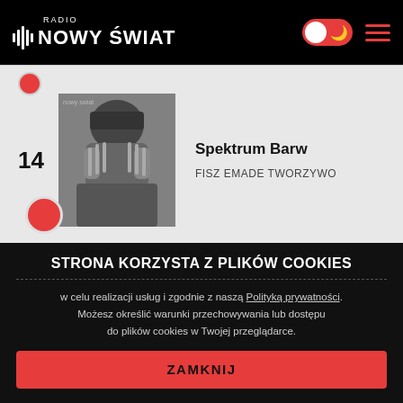RADIO NOWY ŚWIAT
14 Spektrum Barw / FISZ EMADE TWORZYWO
[Figure (photo): Album art showing a person in black and white holding their face in their hands, wearing a beanie hat]
STRONA KORZYSTA Z PLIKÓW COOKIES
w celu realizacji usług i zgodnie z naszą Polityką prywatności. Możesz określić warunki przechowywania lub dostępu do plików cookies w Twojej przeglądarce.
ZAMKNIJ